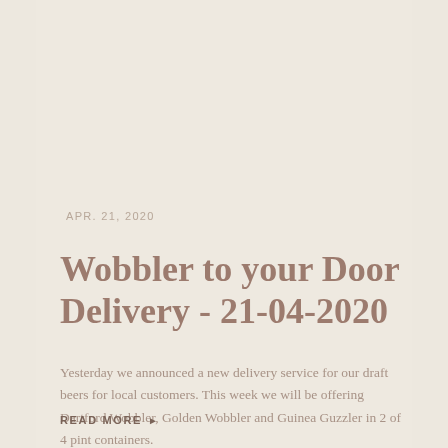APR. 21, 2020
Wobbler to your Door Delivery - 21-04-2020
Yesterday we announced a new delivery service for our draft beers for local customers. This week we will be offering Dartford Wobbler, Golden Wobbler and Guinea Guzzler in 2 of 4 pint containers.
READ MORE ▶